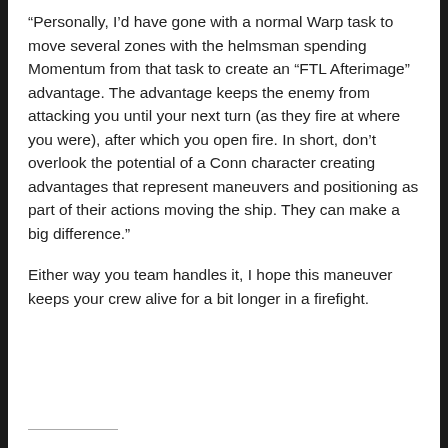“Personally, I’d have gone with a normal Warp task to move several zones with the helmsman spending Momentum from that task to create an “FTL Afterimage” advantage. The advantage keeps the enemy from attacking you until your next turn (as they fire at where you were), after which you open fire. In short, don’t overlook the potential of a Conn character creating advantages that represent maneuvers and positioning as part of their actions moving the ship. They can make a big difference.”
Either way you team handles it, I hope this maneuver keeps your crew alive for a bit longer in a firefight.